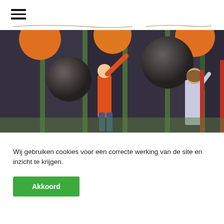[Figure (photo): Two children playing at an outdoor playground structure with large dark spherical balls, orange circles, and dark fabric/curtain panels. One child in an orange hoodie is reaching up to touch a ball. A green park background is visible.]
Wij gebruiken cookies voor een correcte werking van de site en inzicht te krijgen.
Akkoord